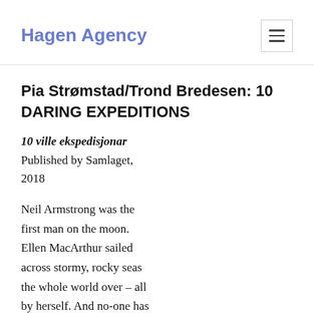Hagen Agency
Pia Strømstad/Trond Bredesen: 10 DARING EXPEDITIONS
10 ville ekspedisjonar
Published by Samlaget, 2018
Neil Armstrong was the first man on the moon. Ellen MacArthur sailed across stormy, rocky seas the whole world over – all by herself. And no-one has ever been as far beneath